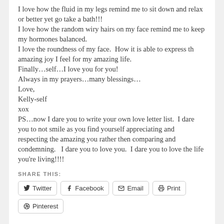I love how the fluid in my legs remind me to sit down and relax or better yet go take a bath!!! I love how the random wiry hairs on my face remind me to keep my hormones balanced. I love the roundness of my face.  How it is able to express th amazing joy I feel for my amazing life. Finally…self…I love you for you! Always in my prayers…many blessings… Love, Kelly-self xox PS…now I dare you to write your own love letter list.  I dare you to not smile as you find yourself appreciating and respecting the amazing you rather then comparing and condemning.   I dare you to love you.  I dare you to love the life you're living!!!!
SHARE THIS:
Twitter | Facebook | Email | Print | Pinterest